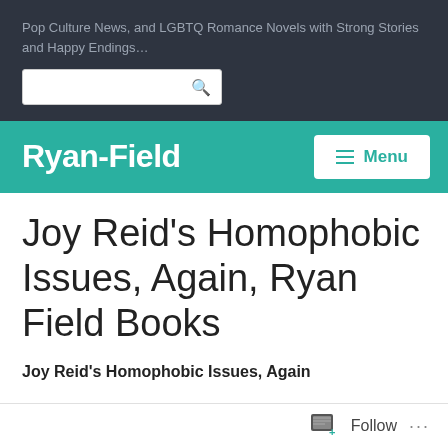Pop Culture News, and LGBTQ Romance Novels with Strong Stories and Happy Endings…
Ryan-Field
Joy Reid's Homophobic Issues, Again, Ryan Field Books
Joy Reid's Homophobic Issues, Again
Follow